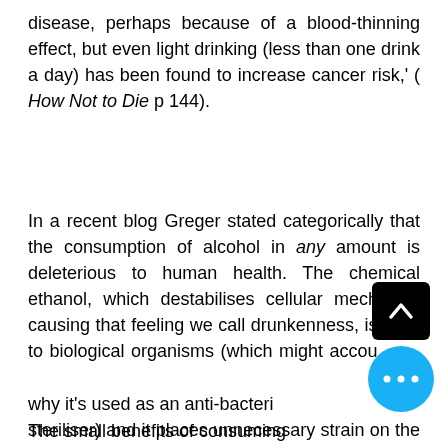disease, perhaps because of a blood-thinning effect, but even light drinking (less than one drink a day) has been found to increase cancer risk,' ( How Not to Die p 144).
In a recent blog Greger stated categorically that the consumption of alcohol in any amount is deleterious to human health. The chemical ethanol, which destabilises cellular mechanics causing that feeling we call drunkenness, is toxic to biological organisms (which might account for why it's used as an anti-bacterial steriliser) and it places unnecessary strain on the liver.
The small benefits of consuming